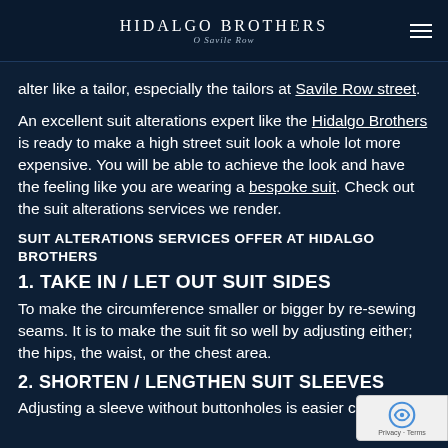HIDALGO BROTHERS / O Savile Row
alter like a tailor, especially the tailors at Savile Row street.
An excellent suit alterations expert like the Hidalgo Brothers is ready to make a high street suit look a whole lot more expensive. You will be able to achieve the look and have the feeling like you are wearing a bespoke suit. Check out the suit alterations services we render.
SUIT ALTERATIONS SERVICES OFFER AT HIDALGO BROTHERS
1. TAKE IN / LET OUT SUIT SIDES
To make the circumference smaller or bigger by re-sewing seams. It is to make the suit fit so well by adjusting either; the hips, the waist, or the chest area.
2. SHORTEN / LENGTHEN SUIT SLEEVES
Adjusting a sleeve without buttonholes is easier comp...